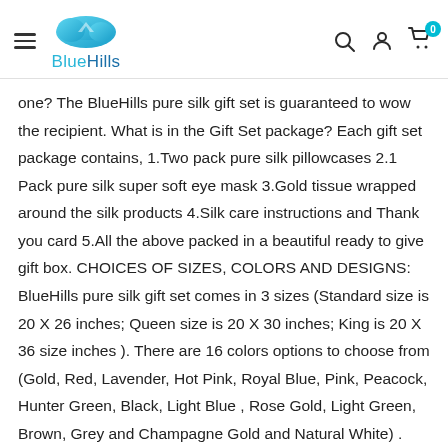BlueHills
one? The BlueHills pure silk gift set is guaranteed to wow the recipient. What is in the Gift Set package? Each gift set package contains, 1.Two pack pure silk pillowcases 2.1 Pack pure silk super soft eye mask 3.Gold tissue wrapped around the silk products 4.Silk care instructions and Thank you card 5.All the above packed in a beautiful ready to give gift box. CHOICES OF SIZES, COLORS AND DESIGNS: BlueHills pure silk gift set comes in 3 sizes (Standard size is 20 X 26 inches; Queen size is 20 X 30 inches; King is 20 X 36 size inches ). There are 16 colors options to choose from (Gold, Red, Lavender, Hot Pink, Royal Blue, Pink, Peacock, Hunter Green, Black, Light Blue , Rose Gold, Light Green, Brown, Grey and Champagne Gold and Natural White) . There are also several design patterns available for you to choose from. Silk pillowcases are recommended by: Hair stylists for optimal hair heath Beauticians for skin health